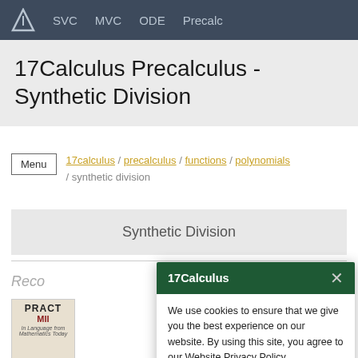17 SVC MVC ODE Precalc
17Calculus Precalculus - Synthetic Division
Menu  17calculus / precalculus / functions / polynomials / synthetic division
Synthetic Division
Reco
17Calculus
We use cookies to ensure that we give you the best experience on our website. By using this site, you agree to our Website Privacy Policy.